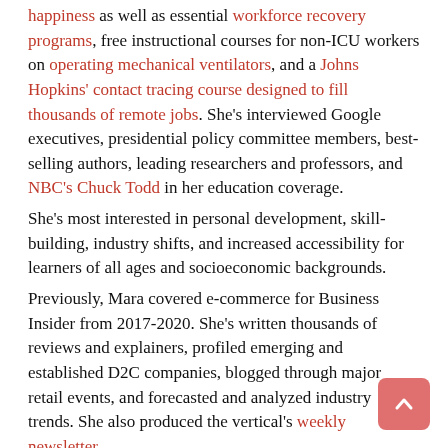happiness as well as essential workforce recovery programs, free instructional courses for non-ICU workers on operating mechanical ventilators, and a Johns Hopkins' contact tracing course designed to fill thousands of remote jobs. She's interviewed Google executives, presidential policy committee members, best-selling authors, leading researchers and professors, and NBC's Chuck Todd in her education coverage.
She's most interested in personal development, skill-building, industry shifts, and increased accessibility for learners of all ages and socioeconomic backgrounds.
Previously, Mara covered e-commerce for Business Insider from 2017-2020. She's written thousands of reviews and explainers, profiled emerging and established D2C companies, blogged through major retail events, and forecasted and analyzed industry trends. She also produced the vertical's weekly newsletter.
Say hello at mleighton@businessinsider.com or tweet her @maraleighton.
Learn more about how our team of experts tests and reviews products at Insider here.
Learn more about how we review educational and personal development courses here.